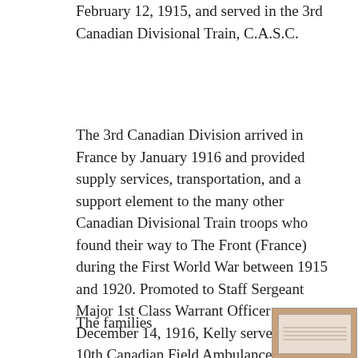(…), in Winnipeg, Manitoba, Canada on February 12, 1915, and served in the 3rd Canadian Divisional Train, C.A.S.C.
The 3rd Canadian Division arrived in France by January 1916 and provided supply services, transportation, and a support element to the many other Canadian Divisional Train troops who found their way to The Front (France) during the First World War between 1915 and 1920. Promoted to Staff Sergeant Major 1st Class Warrant Officer on December 14, 1916, Kelly served in the 10th Canadian Field Ambulance Division from March 3rd, 1917, until he was discharged by Reason of Demobilization on April 1st, 1919.
The families
[Figure (photo): A framed photograph or document with horizontal lines, shown in a brown/tan frame.]